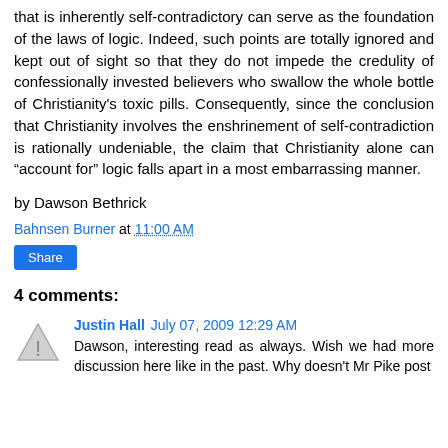that is inherently self-contradictory can serve as the foundation of the laws of logic. Indeed, such points are totally ignored and kept out of sight so that they do not impede the credulity of confessionally invested believers who swallow the whole bottle of Christianity's toxic pills. Consequently, since the conclusion that Christianity involves the enshrinement of self-contradiction is rationally undeniable, the claim that Christianity alone can “account for” logic falls apart in a most embarrassing manner.
by Dawson Bethrick
Bahnsen Burner at 11:00 AM
Share
4 comments:
Justin Hall  July 07, 2009 12:29 AM
Dawson, interesting read as always. Wish we had more discussion here like in the past. Why doesn't Mr Pike post